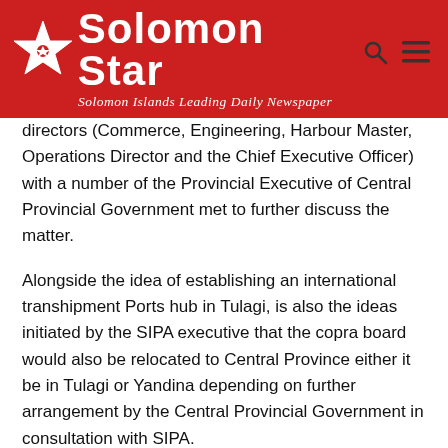Solomon Star — Solomon Islands Leading Daily Newspaper
directors (Commerce, Engineering, Harbour Master, Operations Director and the Chief Executive Officer) with a number of the Provincial Executive of Central Provincial Government met to further discuss the matter.
Alongside the idea of establishing an international transhipment Ports hub in Tulagi, is also the ideas initiated by the SIPA executive that the copra board would also be relocated to Central Province either it be in Tulagi or Yandina depending on further arrangement by the Central Provincial Government in consultation with SIPA.
This copra board will be directly making export of copra products overseas and in this way it will not only generate job opportunities for local people of Central Province but it could also benefit coconut plantation owners and copra